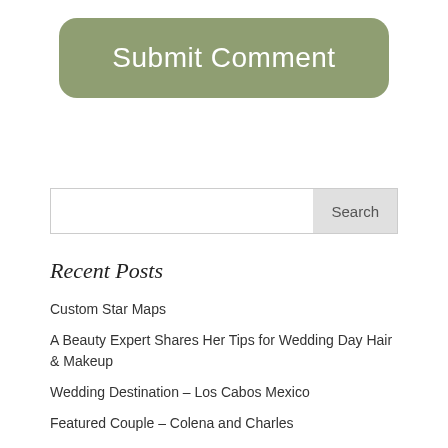[Figure (other): A rounded rectangular button with sage green background and white text reading 'Submit Comment']
[Figure (other): A search bar with text input field and a 'Search' button on the right]
Recent Posts
Custom Star Maps
A Beauty Expert Shares Her Tips for Wedding Day Hair & Makeup
Wedding Destination – Los Cabos Mexico
Featured Couple – Colena and Charles
Featured Couple – Claire and Matthius